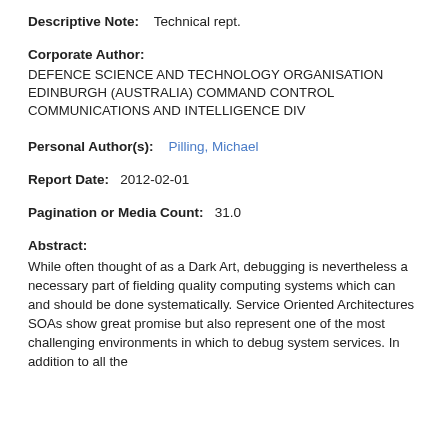Descriptive Note:    Technical rept.
Corporate Author:
DEFENCE SCIENCE AND TECHNOLOGY ORGANISATION EDINBURGH (AUSTRALIA) COMMAND CONTROL COMMUNICATIONS AND INTELLIGENCE DIV
Personal Author(s):    Pilling, Michael
Report Date:    2012-02-01
Pagination or Media Count:    31.0
Abstract:
While often thought of as a Dark Art, debugging is nevertheless a necessary part of fielding quality computing systems which can and should be done systematically. Service Oriented Architectures SOAs show great promise but also represent one of the most challenging environments in which to debug system services. In addition to all the